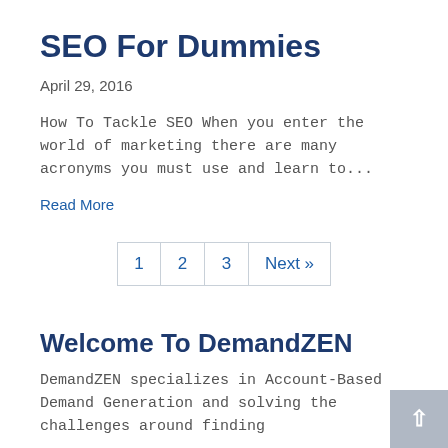SEO For Dummies
April 29, 2016
How To Tackle SEO When you enter the world of marketing there are many acronyms you must use and learn to...
Read More
1
2
3
Next »
Welcome To DemandZEN
DemandZEN specializes in Account-Based Demand Generation and solving the challenges around finding